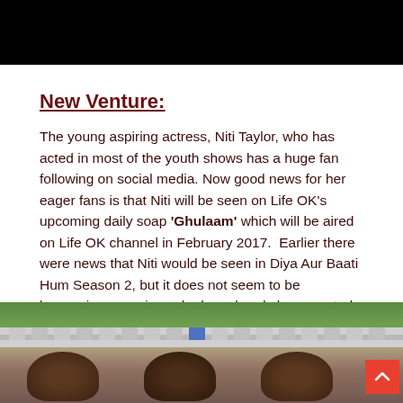[Figure (photo): Black banner/header image at top of page]
New Venture:
The young aspiring actress, Niti Taylor, who has acted in most of the youth shows has a huge fan following on social media. Now good news for her eager fans is that Niti will be seen on Life OK's upcoming daily soap 'Ghulaam' which will be aired on Life OK channel in February 2017.  Earlier there were news that Niti would be seen in Diya Aur Baati Hum Season 2, but it does not seem to be happening now since she has already been casted in Ghulaam.
[Figure (photo): Bottom photo showing people with green plant background and a back-to-top button overlay]